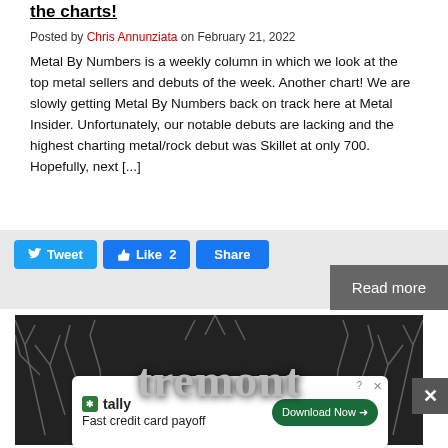the charts!
Posted by Chris Annunziata on February 21, 2022
Metal By Numbers is a weekly column in which we look at the top metal sellers and debuts of the week. Another chart! We are slowly getting Metal By Numbers back on track here at Metal Insider. Unfortunately, our notable debuts are lacking and the highest charting metal/rock debut was Skillet at only 700. Hopefully, next [...]
[Figure (screenshot): Social media sharing buttons: Tweet, Like 2, Share]
Read more
[Figure (photo): Dark background image with gothic-style band logo text reading 'tremont' with branch/thorn decorative elements]
[Figure (screenshot): Advertisement: tally - Fast credit card payoff - Download Now button]